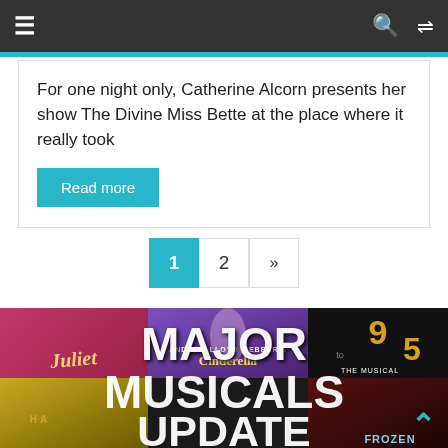Navigation bar with menu, search, and shuffle icons
For one night only, Catherine Alcorn presents her show The Divine Miss Bette at the place where it really took
Read more
1  2  »
[Figure (photo): Collage of musical theatre show posters including Juliet, Cinderella, 9 to 5 The Musical, Hamilton, and Frozen, with large white bold text overlay reading MAJOR MUSICALS UPDATE]